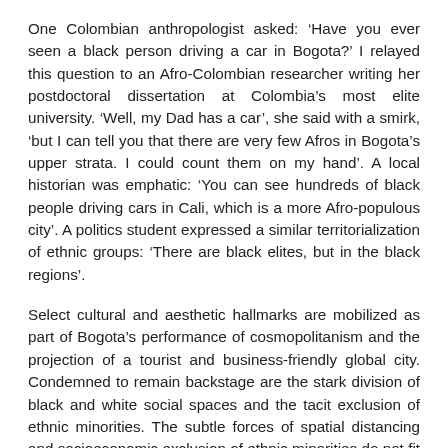One Colombian anthropologist asked: 'Have you ever seen a black person driving a car in Bogota?' I relayed this question to an Afro-Colombian researcher writing her postdoctoral dissertation at Colombia's most elite university. 'Well, my Dad has a car', she said with a smirk, 'but I can tell you that there are very few Afros in Bogota's upper strata. I could count them on my hand'. A local historian was emphatic: 'You can see hundreds of black people driving cars in Cali, which is a more Afro-populous city'. A politics student expressed a similar territorialization of ethnic groups: 'There are black elites, but in the black regions'.
Select cultural and aesthetic hallmarks are mobilized as part of Bogota's performance of cosmopolitanism and the projection of a tourist and business-friendly global city. Condemned to remain backstage are the stark division of black and white social spaces and the tacit exclusion of ethnic minorities. The subtle forces of spatial distancing and socioeconomic exclusion of ethnic minorities do not fit neatly with any claims of an institutionalized racial segregation. When Castro discussed her experience with Afro-Colombian residents of Bogota, most were simply mystified as to why